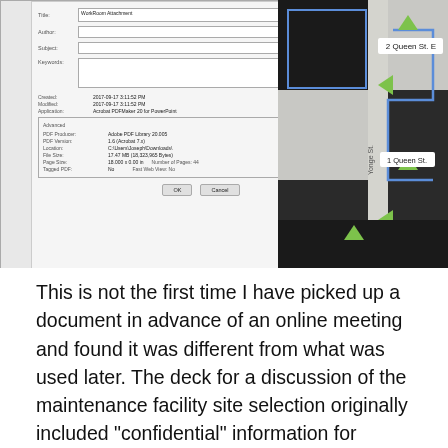[Figure (screenshot): A composite screenshot showing two images side by side: on the left, a PDF document properties dialog box with fields for Title (WorkRoom Attachment), Author, Subject, Keywords, Created (2017-09-17 3:11:52 PM), Modified (2017-09-17 3:11:52 PM), Application (Acrobat PDFMaker 20 for PowerPoint), and Advanced section with PDF Producer, PDF Version, Location, File Size, Page Size, Number of Pages, Tagged PDF, Fast Web View. On the right, a stylized street map showing Queen St. E, Yonge St, and 1 Queen St. with green navigation arrows.]
This is not the first time I have picked up a document in advance of an online meeting and found it was different from what was used later. The deck for a discussion of the maintenance facility site selection originally included "confidential" information for "elected officials" that was stripped from the final version. This information was actually useful in explaining Metrolinx' analysis whether one agreed with it or not.